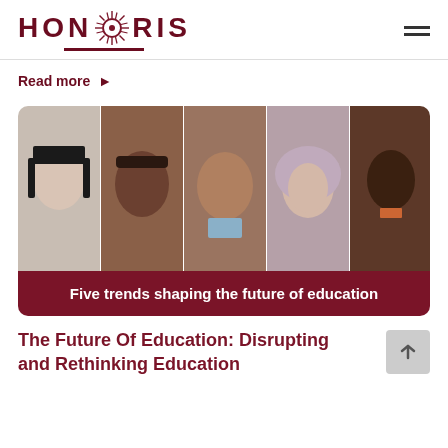[Figure (logo): Honoris United Universities logo with sun/wheel emblem between HON and RIS text in dark red, with underline and hamburger menu icon on the right]
Read more ▶
[Figure (photo): Five diverse people (portraits side by side): young woman with dark hair, African woman smiling, older South Asian man, woman in hijab, African man — with dark red banner overlay reading 'Five trends shaping the future of education']
Five trends shaping the future of education
The Future Of Education: Disrupting and Rethinking Education